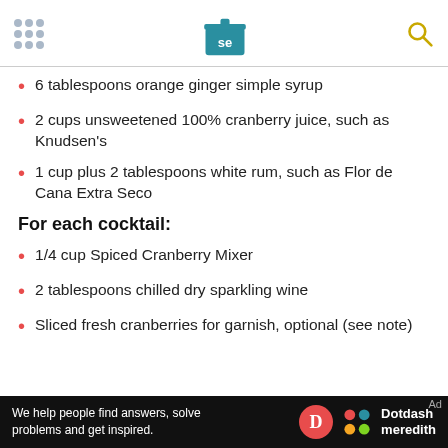[Serious Eats logo with menu dots and search icon]
6 tablespoons orange ginger simple syrup
2 cups unsweetened 100% cranberry juice, such as Knudsen's
1 cup plus 2 tablespoons white rum, such as Flor de Cana Extra Seco
For each cocktail:
1/4 cup Spiced Cranberry Mixer
2 tablespoons chilled dry sparkling wine
Sliced fresh cranberries for garnish, optional (see note)
Ad — We help people find answers, solve problems and get inspired. Dotdash meredith